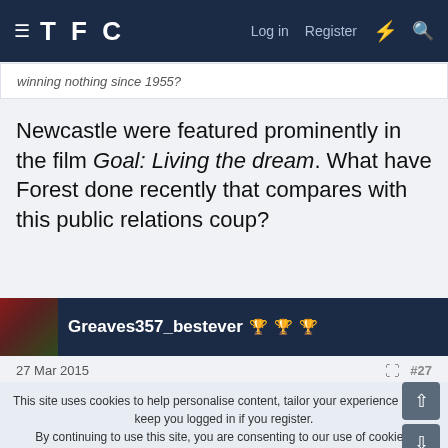TFC  Log in  Register
winning nothing since 1955?
Newcastle were featured prominently in the film Goal: Living the dream. What have Forest done recently that compares with this public relations coup?
Greaves357_bestever 🏆🏆🏆
27 Mar 2015  #27
Louisiana Hotspur said: ↑
This site uses cookies to help personalise content, tailor your experience and to keep you logged in if you register.
By continuing to use this site, you are consenting to our use of cookies.
✓ ACCEPT   LEARN MORE...